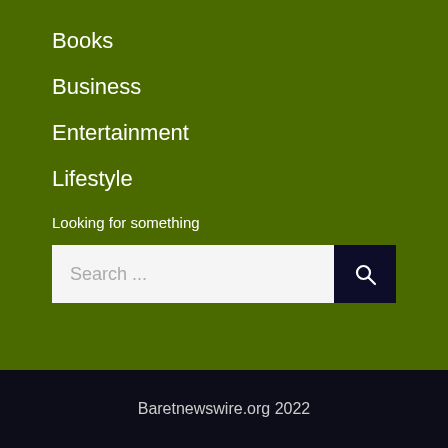Books
Business
Entertainment
Lifestyle
Looking for something
Search ...
Baretnewswire.org 2022